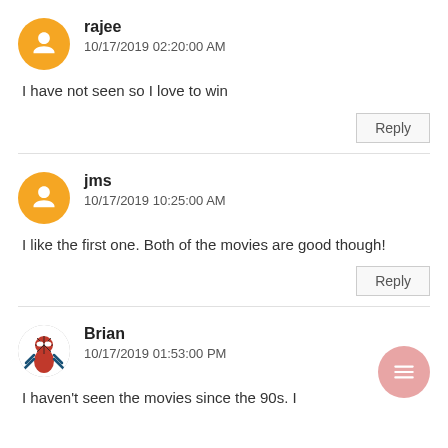rajee
10/17/2019 02:20:00 AM
I have not seen so I love to win
Reply
jms
10/17/2019 10:25:00 AM
I like the first one. Both of the movies are good though!
Reply
Brian
10/17/2019 01:53:00 PM
I haven't seen the movies since the 90s. I